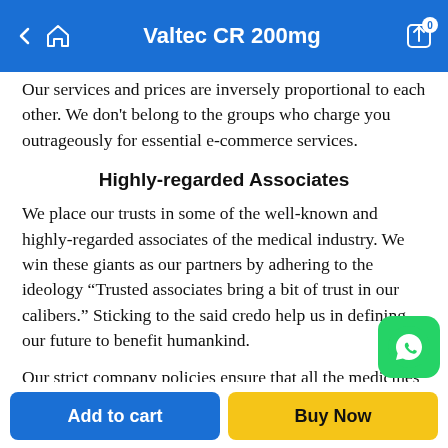Valtec CR 200mg
Our services and prices are inversely proportional to each other. We don't belong to the groups who charge you outrageously for essential e-commerce services.
Highly-regarded Associates
We place our trusts in some of the well-known and highly-regarded associates of the medical industry. We win these giants as our partners by adhering to the ideology “Trusted associates bring a bit of trust in our calibers.” Sticking to the said credo help us in defining our future to benefit humankind.
Our strict company policies ensure that all the medicines undergo multiple clinical testing— the test by the FDA, the analysis by the third-party labs, and the final inspection b